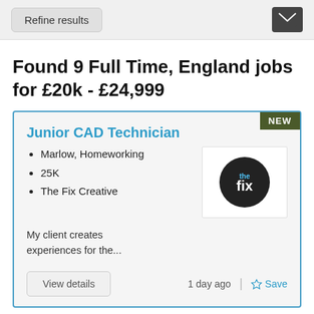Refine results
Found 9 Full Time, England jobs for £20k - £24,999
Junior CAD Technician
Marlow, Homeworking
25K
The Fix Creative
[Figure (logo): The Fix Creative logo — black circle with 'the fix' text in white]
My client creates experiences for the...
View details
1 day ago
Save